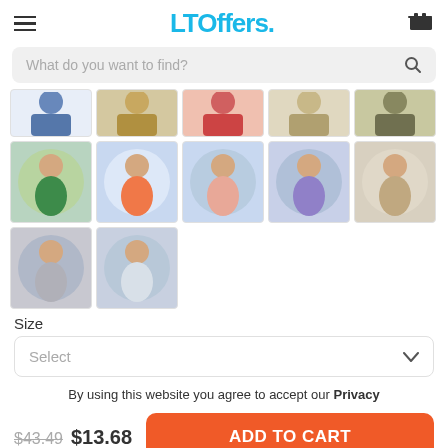LTOffers.
What do you want to find?
[Figure (photo): Product color variant grid showing men in t-shirts of various colors: blue, brown/print, red, tan, olive (top row partial), then green, orange, pink, lavender, beige (second row), then gray, white (third row)]
Size
Select
By using this website you agree to accept our Privacy
$43.49 $13.68
ADD TO CART